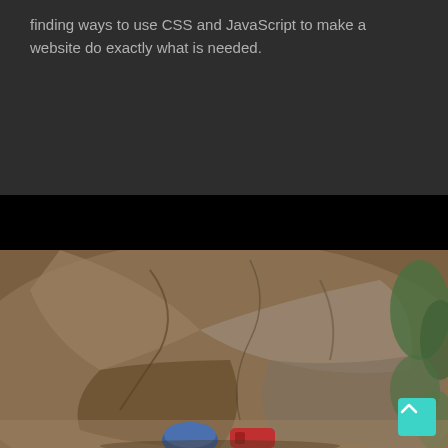finding ways to use CSS and JavaScript to make a website do exactly what is needed.
[Figure (photo): Large boulder or rock face photographed from below, with climbing gear (blue helmet, red backpack) visible at the bottom. Green vegetation on the right side. A teal scroll-to-top button is visible in the bottom right corner.]